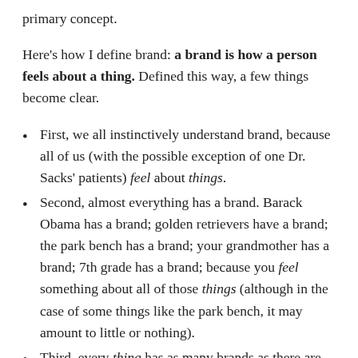primary concept.
Here's how I define brand: a brand is how a person feels about a thing. Defined this way, a few things become clear.
First, we all instinctively understand brand, because all of us (with the possible exception of one Dr. Sacks' patients) feel about things.
Second, almost everything has a brand. Barack Obama has a brand; golden retrievers have a brand; the park bench has a brand; your grandmother has a brand; 7th grade has a brand; because you feel something about all of those things (although in the case of some things like the park bench, it may amount to little or nothing).
Third, every thing has as many brands as there are people to feel something about it. My brand for golden retrievers is not exactly the same as your